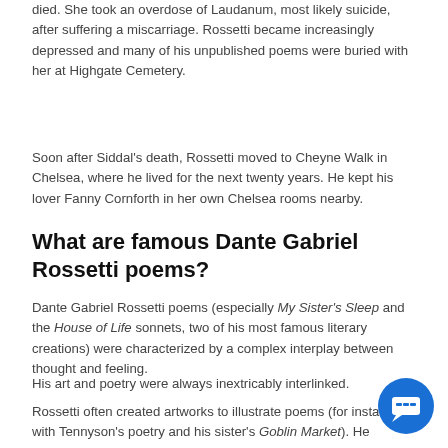died. She took an overdose of Laudanum, most likely suicide, after suffering a miscarriage. Rossetti became increasingly depressed and many of his unpublished poems were buried with her at Highgate Cemetery.
Soon after Siddal's death, Rossetti moved to Cheyne Walk in Chelsea, where he lived for the next twenty years. He kept his lover Fanny Cornforth in her own Chelsea rooms nearby.
What are famous Dante Gabriel Rossetti poems?
Dante Gabriel Rossetti poems (especially My Sister's Sleep and the House of Life sonnets, two of his most famous literary creations) were characterized by a complex interplay between thought and feeling.
His art and poetry were always inextricably interlinked.
Rossetti often created artworks to illustrate poems (for instance with Tennyson's poetry and his sister's Goblin Market). He similarly wrote sonnets to accompany his